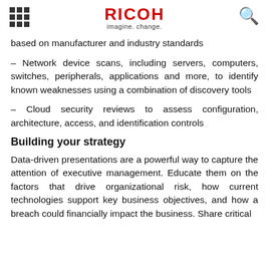RICOH imagine. change.
based on manufacturer and industry standards
– Network device scans, including servers, computers, switches, peripherals, applications and more, to identify known weaknesses using a combination of discovery tools
– Cloud security reviews to assess configuration, architecture, access, and identification controls
Building your strategy
Data-driven presentations are a powerful way to capture the attention of executive management. Educate them on the factors that drive organizational risk, how current technologies support key business objectives, and how a breach could financially impact the business. Share critical